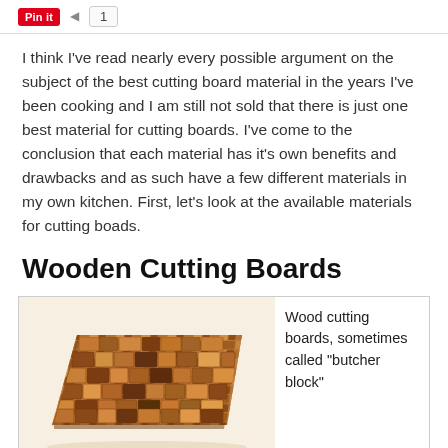Pin it  1
I think I've read nearly every possible argument on the subject of the best cutting board material in the years I've been cooking and I am still not sold that there is just one best material for cutting boards. I've come to the conclusion that each material has it's own benefits and drawbacks and as such have a few different materials in my own kitchen. First, let's look at the available materials for cutting boads.
Wooden Cutting Boards
[Figure (photo): A wooden end-grain cutting board with a butcher block pattern, showing alternating light and dark wood grain sections, rectangular with slightly rounded corners, photographed at an angle on a white background.]
Wood cutting boards, sometimes called "butcher block"